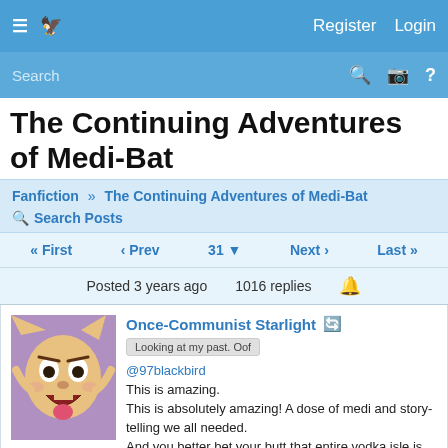≡  🐦    Register  Login
Search  🔍 📷 ?
The Continuing Adventures of Medi-Bat
Fanfiction » The Continuing Adventures of Medi-Bat
🔍 Search Posts
« First  ‹ Prev  31 ▼  Next ›  Last »
Posted 3 years ago   1016 replies   🔔
Once-Communist Starlight 🔄
Looking at my past. Oof
@97blackbird
This is amazing.
This is absolutely amazing! A dose of medi and story-telling we all needed.
And you better bet your butt that entire vodka isle is only stocked because I havn't been there in a while.